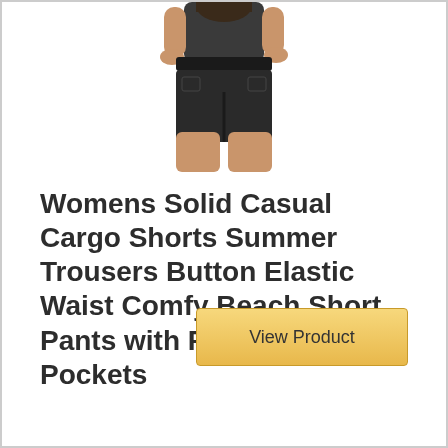[Figure (photo): Cropped photo of a person wearing black cargo shorts, showing torso and legs from approximately mid-torso to upper thigh area against a white background.]
Womens Solid Casual Cargo Shorts Summer Trousers Button Elastic Waist Comfy Beach Short Pants with Pleated Fake Pockets
View Product